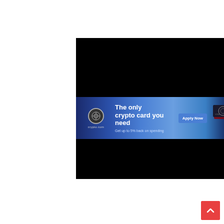[Figure (screenshot): A crypto.com advertisement banner embedded in a dark webpage. The ad shows a blue gradient banner strip with the crypto.com logo on the left, headline text 'The only crypto card you need', subtext 'Get up to 5% back on spending', an 'Apply Now' button, and an image of a black credit card with a globe logo on the right. The surrounding area above and below the banner is black (video or dark content area). A small Adchoices icon appears at the bottom right of the ad unit.]
[Figure (other): A red 'back to top' button with an upward-pointing chevron arrow, positioned at the bottom-right of the page.]